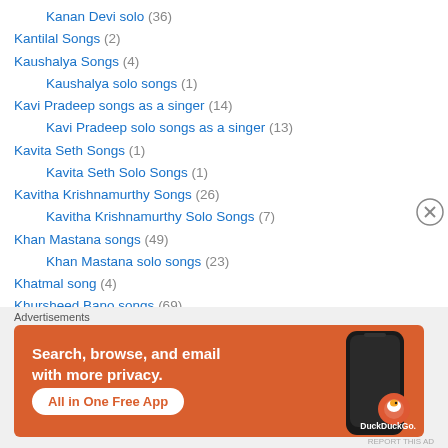Kanan Devi solo (36)
Kantilal Songs (2)
Kaushalya Songs (4)
Kaushalya solo songs (1)
Kavi Pradeep songs as a singer (14)
Kavi Pradeep solo songs as a singer (13)
Kavita Seth Songs (1)
Kavita Seth Solo Songs (1)
Kavitha Krishnamurthy Songs (26)
Kavitha Krishnamurthy Solo Songs (7)
Khan Mastana songs (49)
Khan Mastana solo songs (23)
Khatmal song (4)
Khursheed Bano songs (69)
[Figure (infographic): DuckDuckGo advertisement banner: Search, browse, and email with more privacy. All in One Free App. Shows DuckDuckGo logo and phone graphic on orange background.]